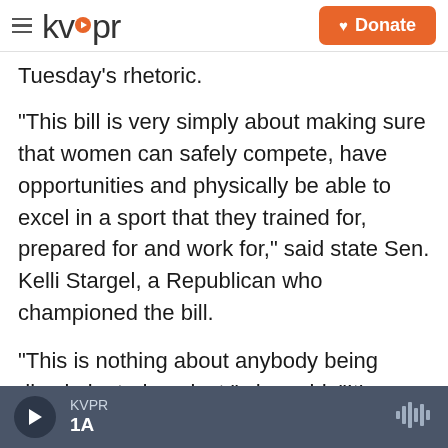kvpr | Donate
Tuesday's rhetoric.
"This bill is very simply about making sure that women can safely compete, have opportunities and physically be able to excel in a sport that they trained for, prepared for and work for," said state Sen. Kelli Stargel, a Republican who championed the bill.
"This is nothing about anybody being discriminated against," she said. "It's solely so that women have an opportunity to compete in women's sports."
The Florida law mirrors an Idaho law, the first of its
KVPR | 1A